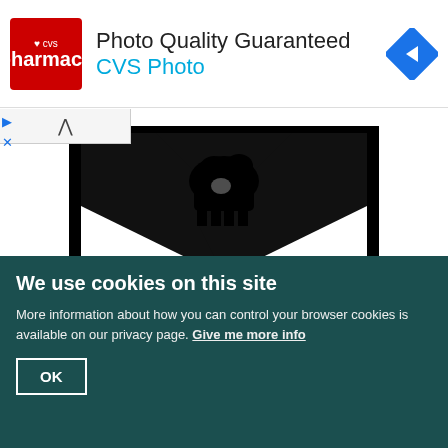[Figure (screenshot): CVS Pharmacy advertisement banner: red CVS logo on left, 'Photo Quality Guaranteed' headline, 'CVS Photo' subtitle in blue, navigation icon on right]
[Figure (illustration): Black and white heraldic illustration showing the Arms of the See of Oxford — a shield shape with figures (possibly an ox) above wavy lines, rendered in bold graphic style]
Arms of the See of Oxford
(27) Parish Church of All Saints (Plates 198, 200), stands on the N. side of
We use cookies on this site
More information about how you can control your browser cookies is available on our privacy page. Give me more info
OK